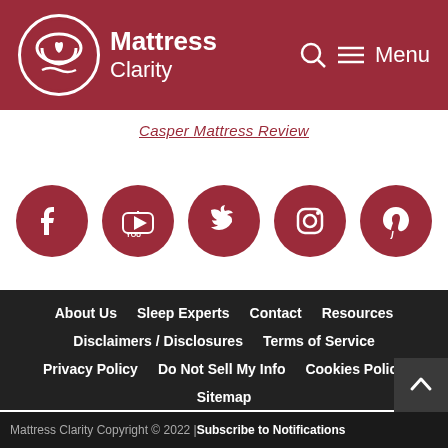Mattress Clarity — Menu
Casper Mattress Review
[Figure (other): Social media icons row: Facebook, YouTube, Twitter, Instagram, Pinterest — all dark red circular buttons]
About Us | Sleep Experts | Contact | Resources | Disclaimers / Disclosures | Terms of Service | Privacy Policy | Do Not Sell My Info | Cookies Policy | Sitemap
Mattress Clarity Copyright © 2022 | Subscribe to Notifications